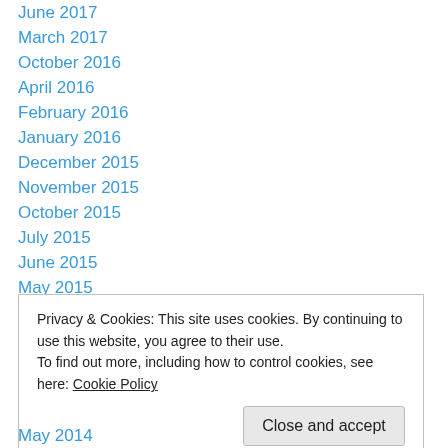June 2017
March 2017
October 2016
April 2016
February 2016
January 2016
December 2015
November 2015
October 2015
July 2015
June 2015
May 2015
March 2015
Privacy & Cookies: This site uses cookies. By continuing to use this website, you agree to their use.
To find out more, including how to control cookies, see here: Cookie Policy
Close and accept
May 2014